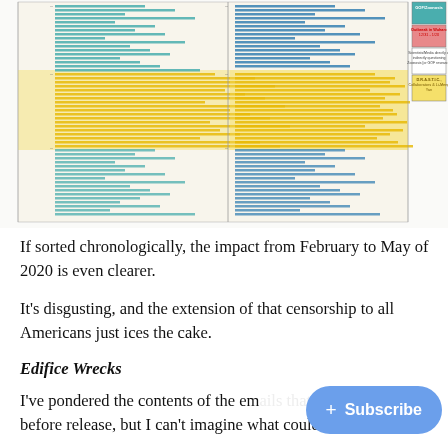[Figure (infographic): A complex timeline/Gantt-style chart with colored horizontal bars representing different categories of COVID-19 related events and actors. Legend in upper right shows color coding: teal/green for GOF/Zoonosis, pink/red for 'Outbreak in Wuhan: 12/31 - 1/20', white/outlined for 'Scientists/Media directly or indirectly questioning Zoonosis (or GOF research)', and yellow/gold for 'D.R.A.S.T.I.C., Collaborators & Li-Meng Yan'. The chart has multiple columns of bar entries spanning a timeline, showing heavy clustering in the yellow (Feb-May 2020) period.]
If sorted chronologically, the impact from February to May of 2020 is even clearer.
It's disgusting, and the extension of that censorship to all Americans just ices the cake.
Edifice Wrecks
I've pondered the contents of the em[ails that were] redacted before release, but I can't imagine what could